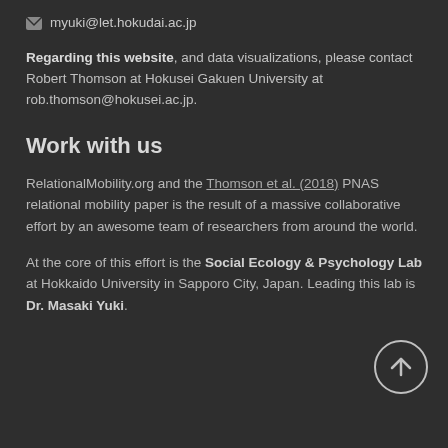myuki@let.hokudai.ac.jp
Regarding this website, and data visualizations, please contact Robert Thomson at Hokusei Gakuen University at rob.thomson@hokusei.ac.jp.
Work with us
RelationalMobility.org and the Thomson et al. (2018) PNAS relational mobility paper is the result of a massive collaborative effort by an awesome team of researchers from around the world.
At the core of this effort is the Social Ecology & Psychology Lab at Hokkaido University in Sapporo City, Japan. Leading this lab is Dr. Masaki Yuki.
[Figure (other): Circular scroll-to-top button with upward arrow icon]